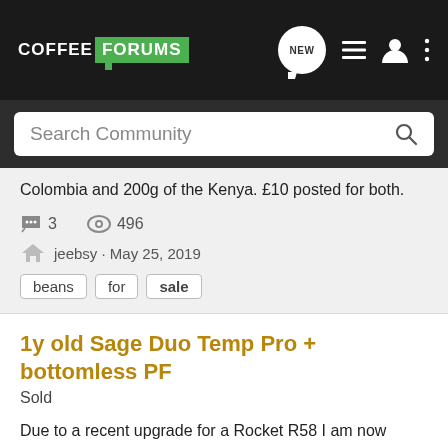COFFEE FORUMS
Search Community
Colombia and 200g of the Kenya. £10 posted for both.
3 comments · 496 views
jeebsy · May 25, 2019
beans
for
sale
1y old Sage Duo Temp Pro + bottomless PF
Sold
Due to a recent upgrade for a Rocket R58 I am now selling my 1y old Sage Duo Temp Pro. It was bought at Lakeland so I believe there is ~2y of warranty remaining. As you can see from the pictures it is in great conditions except for the usual light marks on the dip tray and in front of the...
15 comments · 1K views